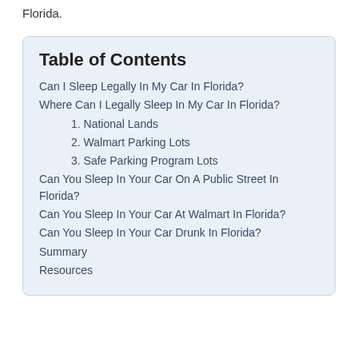Florida.
Table of Contents
Can I Sleep Legally In My Car In Florida?
Where Can I Legally Sleep In My Car In Florida?
1. National Lands
2. Walmart Parking Lots
3. Safe Parking Program Lots
Can You Sleep In Your Car On A Public Street In Florida?
Can You Sleep In Your Car At Walmart In Florida?
Can You Sleep In Your Car Drunk In Florida?
Summary
Resources